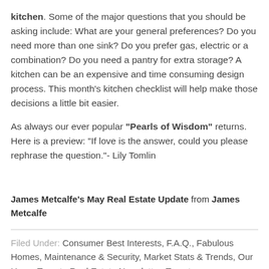kitchen. Some of the major questions that you should be asking include: What are your general preferences? Do you need more than one sink? Do you prefer gas, electric or a combination? Do you need a pantry for extra storage? A kitchen can be an expensive and time consuming design process. This month's kitchen checklist will help make those decisions a little bit easier.

As always our ever popular “Pearls of Wisdom” returns. Here is a preview: “If love is the answer, could you please rephrase the question.”- Lily Tomlin
James Metcalfe’s May Real Estate Update from James Metcalfe
Filed Under: Consumer Best Interests, F.A.Q., Fabulous Homes, Maintenance & Security, Market Stats & Trends, Our Home Toronto Real Estate Newsletter, Toronto